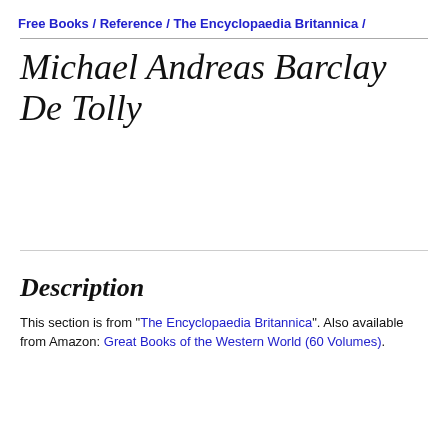Free Books / Reference / The Encyclopaedia Britannica /
Michael Andreas Barclay De Tolly
Description
This section is from "The Encyclopaedia Britannica". Also available from Amazon: Great Books of the Western World (60 Volumes).